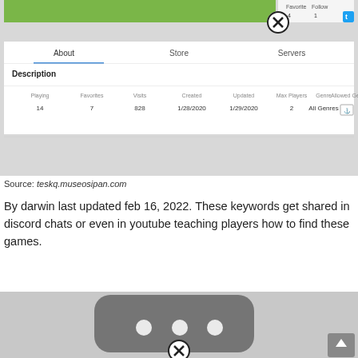[Figure (screenshot): Screenshot of a Roblox game page showing About/Store/Servers tabs, Description section, and game stats (Playing: 14, Favorites: 7, Visits: 828, Created: 1/28/2020, Updated: 1/29/2020, Max Players: 2, Genre: All Genres, Allowed Gear icon). Has a close button overlay.]
Source: teskq.museosipan.com
By darwin last updated feb 16, 2022. These keywords get shared in discord chats or even in youtube teaching players how to find these games.
[Figure (screenshot): Screenshot showing a gray game icon with three white dots arranged horizontally and a close button overlay at the bottom.]